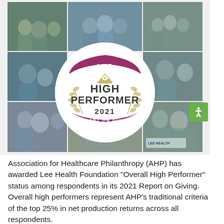[Figure (photo): Collage of healthcare workers and patients with AHP High Performer 2021 Report on Giving badge overlaid in the center. Photos show masked healthcare workers with children, staff groups, and community members. Lee Health Foundation logo visible in bottom right photo.]
Association for Healthcare Philanthropy (AHP) has awarded Lee Health Foundation “Overall High Performer” status among respondents in its 2021 Report on Giving. Overall high performers represent AHP’s traditional criteria of the top 25% in net production returns across all respondents.